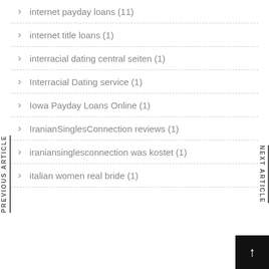internet payday loans (11)
internet title loans (1)
interracial dating central seiten (1)
Interracial Dating service (1)
Iowa Payday Loans Online (1)
IranianSinglesConnection reviews (1)
iraniansinglesconnection was kostet (1)
italian women real bride (1)